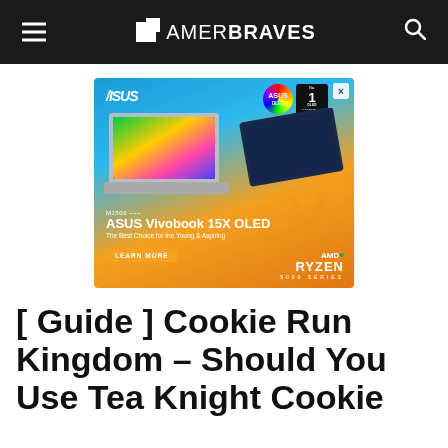GAMER BRAVES
[Figure (photo): ASUS Vivobook 15X OLED advertisement with two laptops on a gradient blue-orange background, AMD Ryzen 5000 Series branding, and a Learn More button]
[ Guide ] Cookie Run Kingdom – Should You Use Tea Knight Cookie